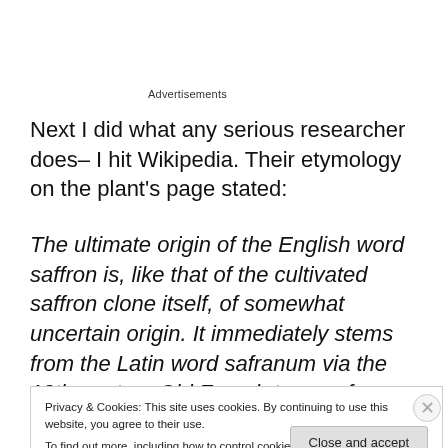Advertisements
Next I did what any serious researcher does– I hit Wikipedia. Their etymology on the plant's page stated:
The ultimate origin of the English word saffron is, like that of the cultivated saffron clone itself, of somewhat uncertain origin. It immediately stems from the Latin word safranum via the 12th-century Old French term safran. Safranum
Privacy & Cookies: This site uses cookies. By continuing to use this website, you agree to their use.
To find out more, including how to control cookies, see here: Cookie Policy
Close and accept